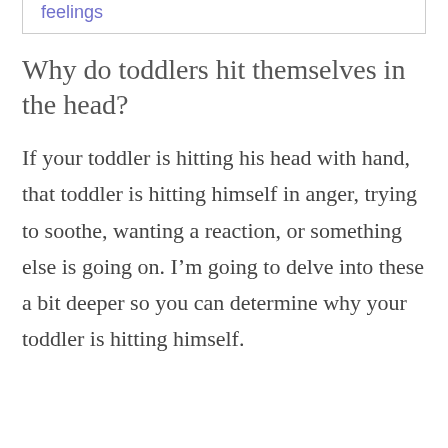feelings
Why do toddlers hit themselves in the head?
If your toddler is hitting his head with hand, that toddler is hitting himself in anger, trying to soothe, wanting a reaction, or something else is going on. I’m going to delve into these a bit deeper so you can determine why your toddler is hitting himself.